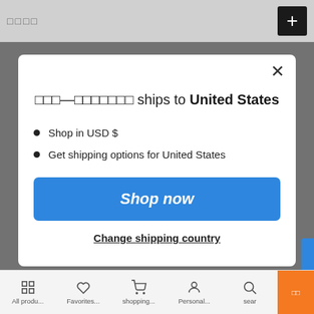□□□□   +
[Figure (screenshot): Modal dialog popup on a mobile e-commerce app saying the store ships to United States, with options to shop now or change shipping country]
□□□—□□□□□□□ ships to United States
Shop in USD $
Get shipping options for United States
Shop now
Change shipping country
All produ...   Favorites...   shopping...   Personal...   sear   □□